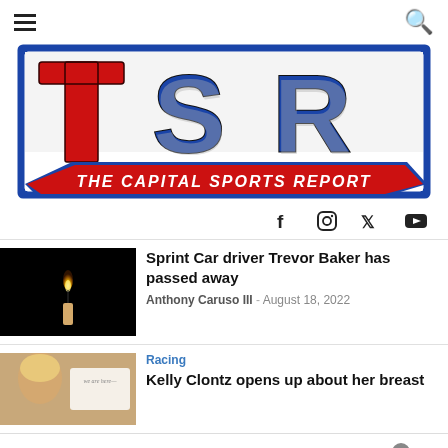Menu | Search
[Figure (logo): The Capital Sports Report (TSR) logo with red T, blue SR letters and red italic text 'THE CAPITAL SPORTS REPORT' inside a blue bordered box]
Social media icons: Facebook, Instagram, Twitter, YouTube
Sprint Car driver Trevor Baker has passed away
Anthony Caruso III - August 18, 2022
Racing
Kelly Clontz opens up about her breast
Search for
[Figure (infographic): Frontgate SALES advertisement banner: up to 50% off, frontgate.com, with furniture/fire pit image and blue circular CTA button]